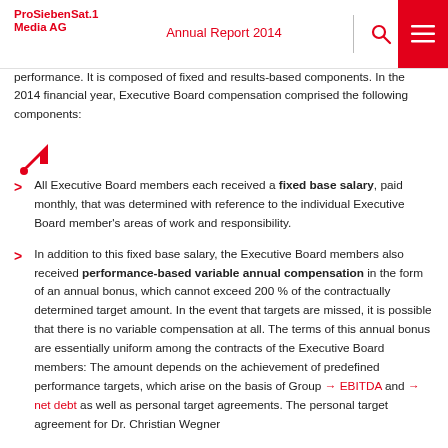ProSiebenSat.1 Media AG | Annual Report 2014
performance. It is composed of fixed and results-based components. In the 2014 financial year, Executive Board compensation comprised the following components:
All Executive Board members each received a fixed base salary, paid monthly, that was determined with reference to the individual Executive Board member's areas of work and responsibility.
In addition to this fixed base salary, the Executive Board members also received performance-based variable annual compensation in the form of an annual bonus, which cannot exceed 200 % of the contractually determined target amount. In the event that targets are missed, it is possible that there is no variable compensation at all. The terms of this annual bonus are essentially uniform among the contracts of the Executive Board members: The amount depends on the achievement of predefined performance targets, which arise on the basis of Group → EBITDA and → net debt as well as personal target agreements. The personal target agreement for Dr. Christian Wegner